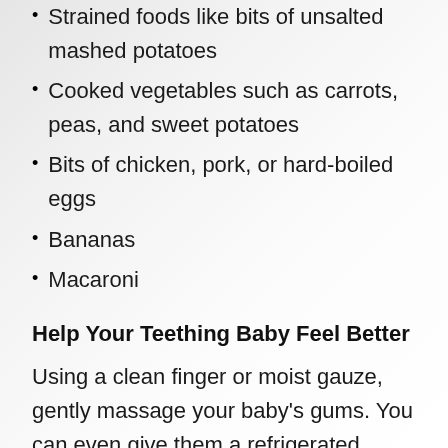Strained foods like bits of unsalted mashed potatoes
Cooked vegetables such as carrots, peas, and sweet potatoes
Bits of chicken, pork, or hard-boiled eggs
Bananas
Macaroni
Help Your Teething Baby Feel Better
Using a clean finger or moist gauze, gently massage your baby’s gums. You can even give them a refrigerated spoon or teething ring to soothe gums (avoid teething necklaces or